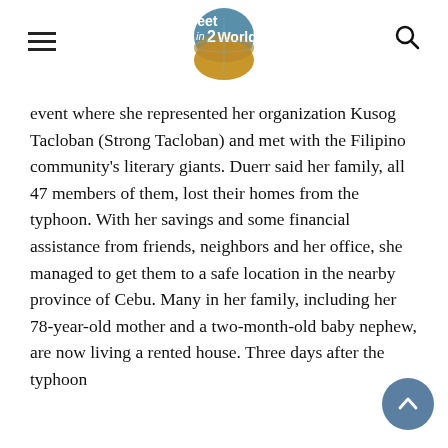Feet in 2 Worlds
event where she represented her organization Kusog Tacloban (Strong Tacloban) and met with the Filipino community's literary giants. Duerr said her family, all 47 members of them, lost their homes from the typhoon. With her savings and some financial assistance from friends, neighbors and her office, she managed to get them to a safe location in the nearby province of Cebu. Many in her family, including her 78-year-old mother and a two-month-old baby nephew, are now living a rented house. Three days after the typhoon he